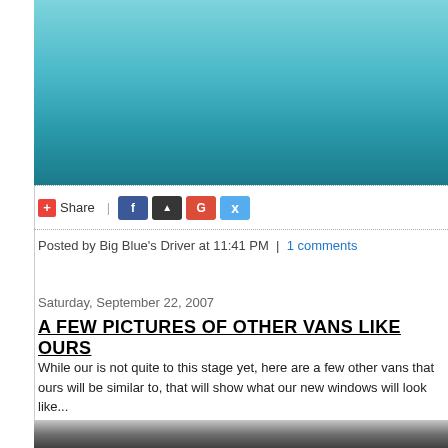[Figure (photo): Blue vintage van/bus being washed, viewed from side, water splashing near wheel]
[Figure (infographic): Social share bar with +Share button, Facebook, StumbleUpon, Google+, and Twitter icon buttons]
Posted by Big Blue's Driver at 11:41 PM | 1 comments
Saturday, September 22, 2007
A FEW PICTURES OF OTHER VANS LIKE OURS
While our is not quite to this stage yet, here are a few other vans that ours will be similar to, that will show what our new windows will look like...
[Figure (photo): Partial view of another vintage van/bus, white/cream colored, photographed in a wooded area]